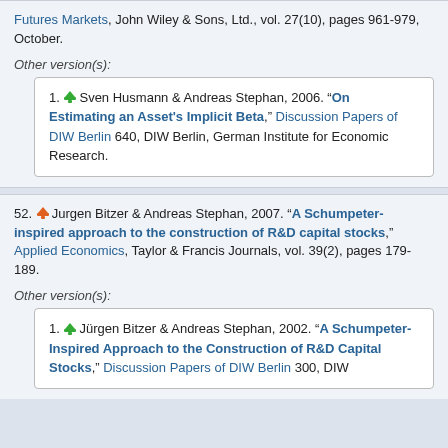Futures Markets, John Wiley & Sons, Ltd., vol. 27(10), pages 961-979, October.
Other version(s):
1. Sven Husmann & Andreas Stephan, 2006. "On Estimating an Asset's Implicit Beta," Discussion Papers of DIW Berlin 640, DIW Berlin, German Institute for Economic Research.
52. Jurgen Bitzer & Andreas Stephan, 2007. "A Schumpeter-inspired approach to the construction of R&D capital stocks," Applied Economics, Taylor & Francis Journals, vol. 39(2), pages 179-189.
Other version(s):
1. Jürgen Bitzer & Andreas Stephan, 2002. "A Schumpeter-Inspired Approach to the Construction of R&D Capital Stocks," Discussion Papers of DIW Berlin 300, DIW